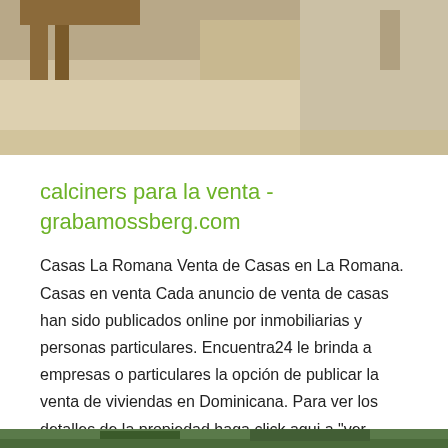[Figure (photo): Partial view of a construction or outdoor scene with beige/sandy tones, wood structures visible at top.]
calciners para la venta - grabamossberg.com
Casas La Romana Venta de Casas en La Romana. Casas en venta Cada anuncio de venta de casas han sido publicados online por inmobiliarias y personas particulares. Encuentra24 le brinda a empresas o particulares la opción de publicar la venta de viviendas en Dominicana. Para ver los detalles de la propiedad haga click aqui a "ver detalles".
[Figure (photo): Bottom partial photo showing rocky or mountainous terrain with green/dark tones.]